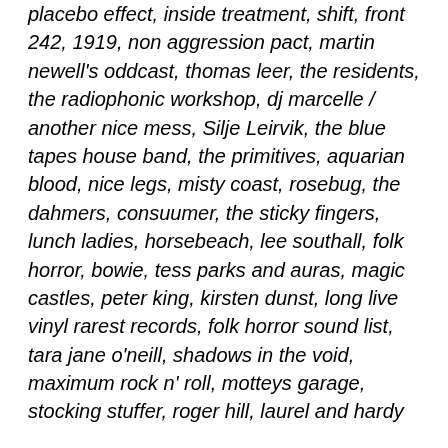placebo effect, inside treatment, shift, front 242, 1919, non aggression pact, martin newell's oddcast, thomas leer, the residents, the radiophonic workshop, dj marcelle / another nice mess, Silje Leirvik, the blue tapes house band, the primitives, aquarian blood, nice legs, misty coast, rosebug, the dahmers, consuumer, the sticky fingers, lunch ladies, horsebeach, lee southall, folk horror, bowie, tess parks and auras, magic castles, peter king, kirsten dunst, long live vinyl rarest records, folk horror sound list, tara jane o'neill, shadows in the void, maximum rock n' roll, motteys garage, stocking stuffer, roger hill, laurel and hardy
Opening this particular with something desirably dirty and scuzzy, these are feral upstarts the Cavemen who in the briefest of eye blinks manage to shoehorn a frenzied slab of strut burn with the acutely rampantly lurid and lust